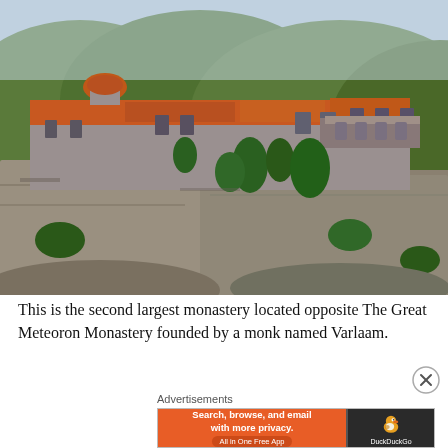[Figure (photo): Photograph of the Varlaam Monastery at Meteora, Greece — large stone monastery complex with orange-red tiled roofs perched dramatically atop tall rocky cliffs, surrounded by lush green tree-covered hills and mountains in the background.]
This is the second largest monastery located opposite The Great Meteoron Monastery founded by a monk named Varlaam.
Advertisements
[Figure (screenshot): DuckDuckGo advertisement banner: orange left panel with text 'Search, browse, and email with more privacy. All in One Free App'; dark right panel with DuckDuckGo duck logo and brand name.]